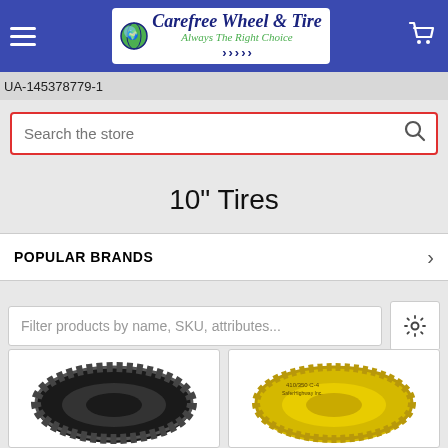[Figure (screenshot): Carefree Wheel & Tire website header with logo, hamburger menu, and cart icon on blue background]
UA-145378779-1
Search the store
10" Tires
POPULAR BRANDS
Filter products by name, SKU, attributes...
[Figure (photo): Black rubber tire with tread pattern]
[Figure (photo): Yellow tire with ribbed tread pattern]